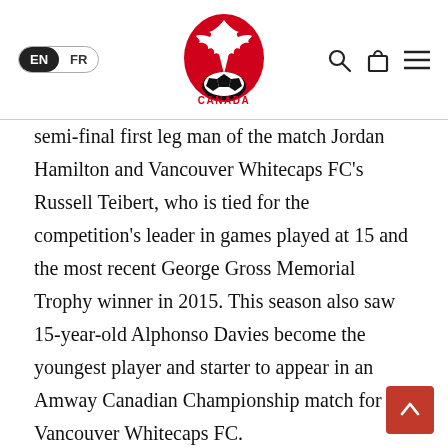EN | FR — Canada Soccer logo — search, cart, menu icons
semi-final first leg man of the match Jordan Hamilton and Vancouver Whitecaps FC's Russell Teibert, who is tied for the competition's leader in games played at 15 and the most recent George Gross Memorial Trophy winner in 2015. This season also saw 15-year-old Alphonso Davies become the youngest player and starter to appear in an Amway Canadian Championship match for Vancouver Whitecaps FC.
Attendance numbers have been growing in the ninth edition of the competition with an increase of over 30% through the first two rounds. On 8 June, a record